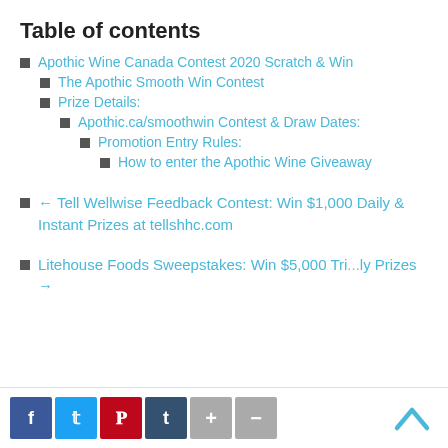Table of contents
Apothic Wine Canada Contest 2020 Scratch & Win
The Apothic Smooth Win Contest
Prize Details:
Apothic.ca/smoothwin Contest & Draw Dates:
Promotion Entry Rules:
How to enter the Apothic Wine Giveaway
← Tell Wellwise Feedback Contest: Win $1,000 Daily & Instant Prizes at tellshhc.com
Litehouse Foods Sweepstakes: Win $5,000 Tri... Prizes →